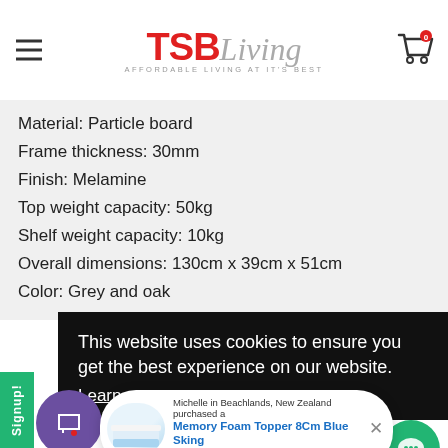TSBLiving - AFFORDABLE LIVING AT ITS BEST
Material: Particle board
Frame thickness: 30mm
Finish: Melamine
Top weight capacity: 50kg
Shelf weight capacity: 10kg
Overall dimensions: 130cm x 39cm x 51cm
Color: Grey and oak
This website uses cookies to ensure you get the best experience on our website. Learn more
Michelle in Beachlands, New Zealand purchased a Memory Foam Topper 8Cm Blue Sking 3 minutes ago